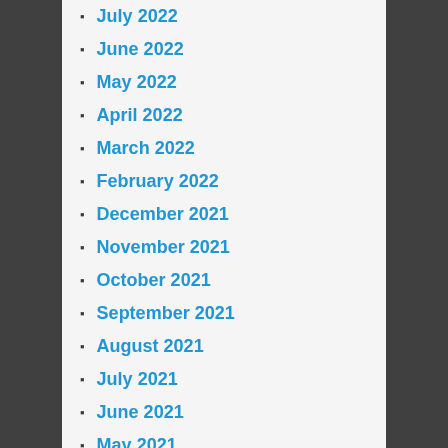July 2022
June 2022
May 2022
April 2022
March 2022
February 2022
December 2021
November 2021
October 2021
September 2021
August 2021
July 2021
June 2021
May 2021
March 2021
February 2021
January 2021
December 2020
November 2020
October 2020
September 2020
August 2020